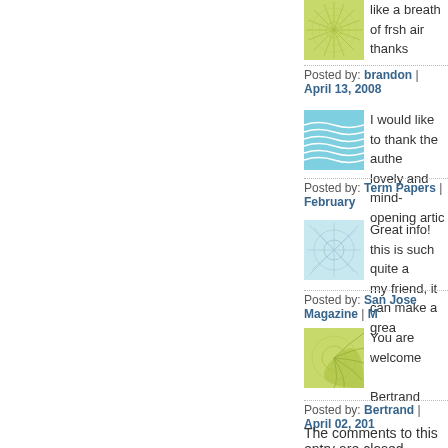[Figure (illustration): Green starburst/mandala avatar icon]
like a breath of frsh air thanks
Posted by: brandon | April 13, 2008
[Figure (illustration): Blue wavy lines avatar icon]
I would like to thank the authe lovely and mind-opening artic
Posted by: Term Papers | February
[Figure (illustration): Light blue web/network pattern avatar icon]
Great info! this is such quite a my friend, it can make a grea
Posted by: San Jose Magazine | M
[Figure (illustration): Yellow-green starburst avatar icon]
You are welcome

Bertrand
Posted by: Bertrand | April 02, 201
The comments to this entry are closed.